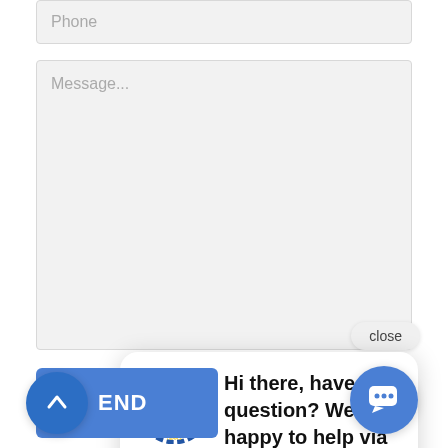[Figure (screenshot): Phone input field placeholder]
[Figure (screenshot): Message textarea with placeholder text 'Message...']
close
[Figure (infographic): Chat popup bubble with Hedlund Plumbing 80-year anniversary logo and message: 'Hi there, have a question? We're happy to help via text!']
[Figure (screenshot): Send button with upward arrow circle and 'END' text label, and chat message circle button on bottom right]